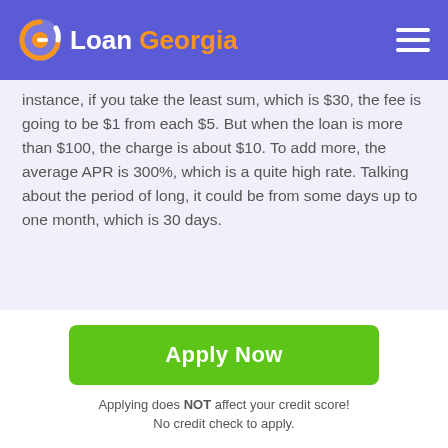Loan Georgia
instance, if you take the least sum, which is $30, the fee is going to be $1 from each $5. But when the loan is more than $100, the charge is about $10. To add more, the average APR is 300%, which is a quite high rate. Talking about the period of long, it could be from some days up to one month, which is 30 days.
Additional Fees of Payday Loans
Apply Now
Applying does NOT affect your credit score!
No credit check to apply.